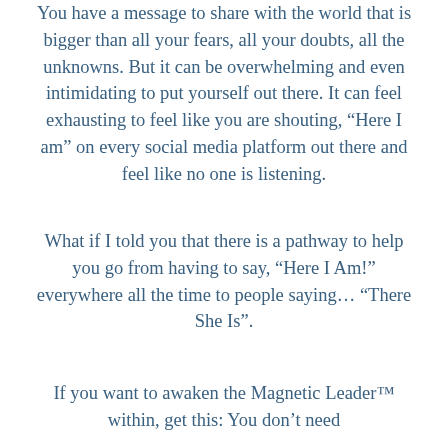You have a message to share with the world that is bigger than all your fears, all your doubts, all the unknowns. But it can be overwhelming and even intimidating to put yourself out there. It can feel exhausting to feel like you are shouting, “Here I am” on every social media platform out there and feel like no one is listening.
What if I told you that there is a pathway to help you go from having to say, “Here I Am!” everywhere all the time to people saying… “There She Is”.
If you want to awaken the Magnetic Leader™ within, get this: You don’t need